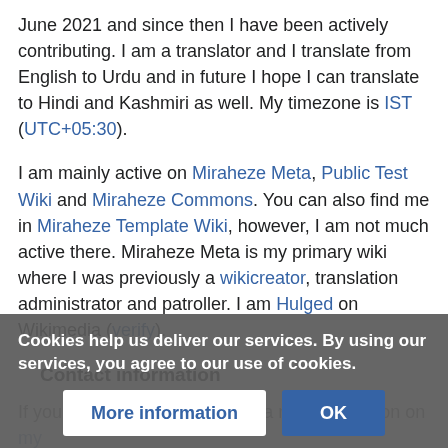June 2021 and since then I have been actively contributing. I am a translator and I translate from English to Urdu and in future I hope I can translate to Hindi and Kashmiri as well. My timezone is IST (UTC+05:30).
I am mainly active on Miraheze Meta, Public Test Wiki and Miraheze Commons. You can also find me in Miraheze Template Wiki, however, I am not much active there. Miraheze Meta is my primary wiki where I was previously a wikicreator, translation administrator and patroller. I am Hulged on Wikimedia (verify).
Contact information
If you want to talk to me, open a new discussion on my Meta talk page (preferred). You can also email me. I am Magogre#1867 on discord and I usually reside in the Miraheze serve...
Cookies help us deliver our services. By using our services, you agree to our use of cookies.